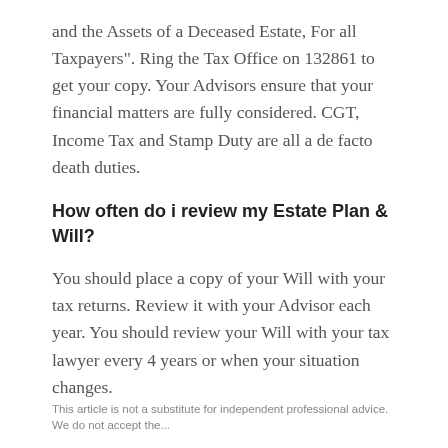and the Assets of a Deceased Estate, For all Taxpayers". Ring the Tax Office on 132861 to get your copy. Your Advisors ensure that your financial matters are fully considered. CGT, Income Tax and Stamp Duty are all a de facto death duties.
How often do i review my Estate Plan & Will?
You should place a copy of your Will with your tax returns. Review it with your Advisor each year. You should review your Will with your tax lawyer every 4 years or when your situation changes.
This article is not a substitute for independent professional advice. We do not accept the...